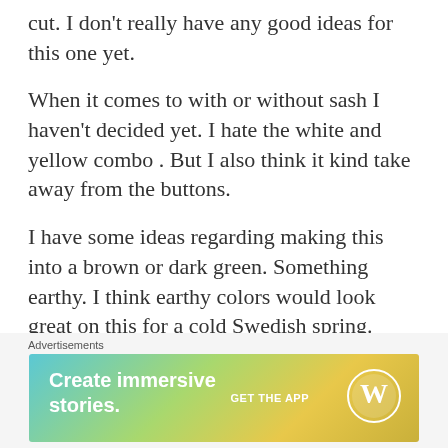cut. I don't really have any good ideas for this one yet.
When it comes to with or without sash I haven't decided yet. I hate the white and yellow combo . But I also think it kind take away from the buttons.
I have some ideas regarding making this into a brown or dark green. Something earthy. I think earthy colors would look great on this for a cold Swedish spring.
Advertisements
[Figure (screenshot): WordPress advertisement banner: 'Create immersive stories. GET THE APP' with WordPress logo, gradient background from teal to yellow-green]